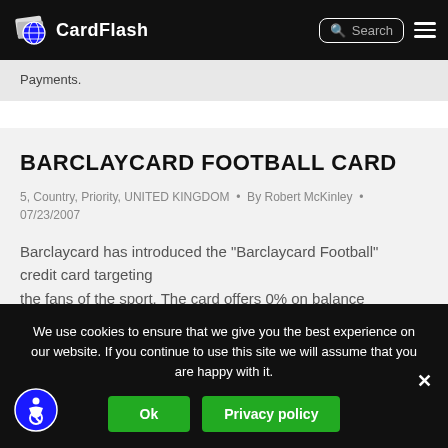CardFlash
Payments.
BARCLAYCARD FOOTBALL CARD
5, Country, Priority, UNITED KINGDOM • By Robert McKinley • 07/23/2007
Barclaycard has introduced the "Barclaycard Football" credit card targeting the fans of the sport. The card offers 0% on balance transfers for 10
We use cookies to ensure that we give you the best experience on our website. If you continue to use this site we will assume that you are happy with it.